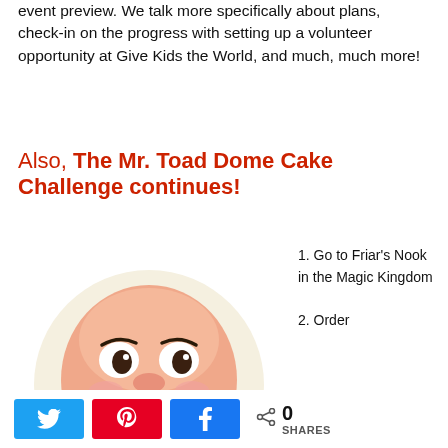event preview. We talk more specifically about plans, check-in on the progress with setting up a volunteer opportunity at Give Kids the World, and much, much more!
Also, The Mr. Toad Dome Cake Challenge continues!
[Figure (photo): A dome-shaped cake decorated with Mr. Toad's smiling face on a round disc, with a teal bow tie decoration. The cake sits in a red and yellow container.]
1. Go to Friar's Nook in the Magic Kingdom
2. Order
0 SHARES (Twitter, Pinterest, Facebook share buttons)